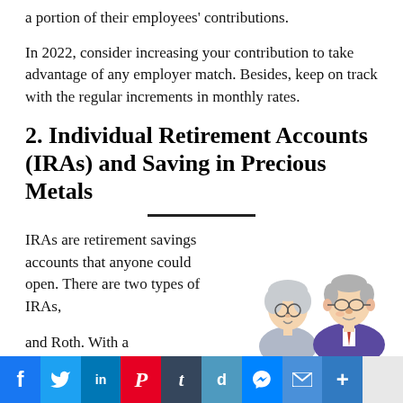a portion of their employees' contributions.
In 2022, consider increasing your contribution to take advantage of any employer match. Besides, keep on track with the regular increments in monthly rates.
2. Individual Retirement Accounts (IRAs) and Saving in Precious Metals
IRAs are retirement savings accounts that anyone could open. There are two types of IRAs, traditional and Roth. With a
[Figure (illustration): Cartoon illustration of an elderly couple — an older woman and an older man in a purple suit with a red tie, appearing to be whispering or talking closely together.]
[Figure (infographic): Social media sharing bar with icons for Facebook, Twitter, LinkedIn, Pinterest, Tumblr, Digg, Messenger, Email, More, and a blank white button.]